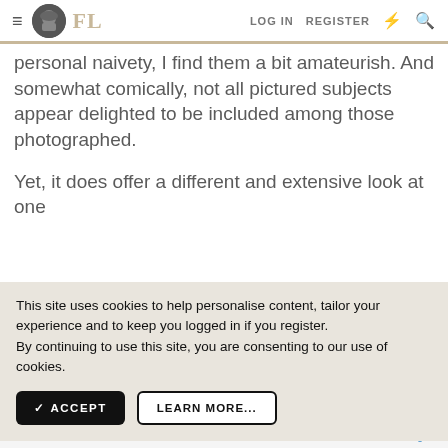FL — LOG IN  REGISTER
personal naivety, I find them a bit amateurish. And somewhat comically, not all pictured subjects appear delighted to be included among those photographed.
Yet, it does offer a different and extensive look at one
This site uses cookies to help personalise content, tailor your experience and to keep you logged in if you register.
By continuing to use this site, you are consenting to our use of cookies.
✓ ACCEPT    LEARN MORE...
[Figure (screenshot): Walgreens advertisement: Save on Select Vitamins, Walgreens Photo, with blue diamond icon]